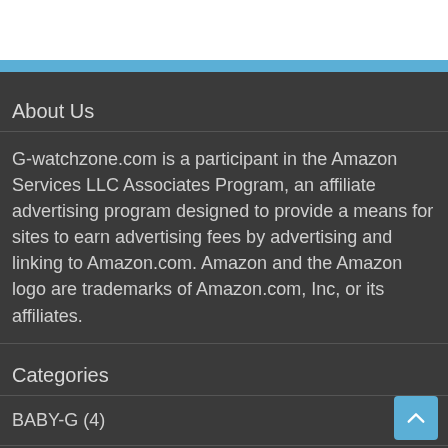[Figure (other): White header bar with blue stripe below, typical website navigation header area]
About Us
G-watchzone.com is a participant in the Amazon Services LLC Associates Program, an affiliate advertising program designed to provide a means for sites to earn advertising fees by advertising and linking to Amazon.com. Amazon and the Amazon logo are trademarks of Amazon.com, Inc, or its affiliates.
Categories
BABY-G (4)
Best Seller (29)
CASIO (9)